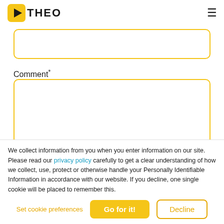THEO
Comment*
We collect information from you when you enter information on our site. Please read our privacy policy carefully to get a clear understanding of how we collect, use, protect or otherwise handle your Personally Identifiable Information in accordance with our website. If you decline, one single cookie will be placed to remember this.
Set cookie preferences | Go for it! | Decline